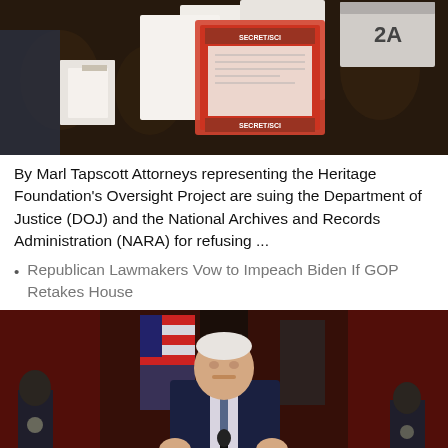[Figure (photo): Photo of classified document folders/envelopes laid out on a decorated surface, with a 'SECRET/SCI' labeled document visible in the center and a box labeled '2A']
By Marl Tapscott Attorneys representing the Heritage Foundation's Oversight Project are suing the Department of Justice (DOJ) and the National Archives and Records Administration (NARA) for refusing ...
Republican Lawmakers Vow to Impeach Biden If GOP Retakes House
[Figure (photo): Photo of President Biden speaking at a podium with the Presidential seal, in front of a red-lit background with US flags and uniformed military personnel flanking him]